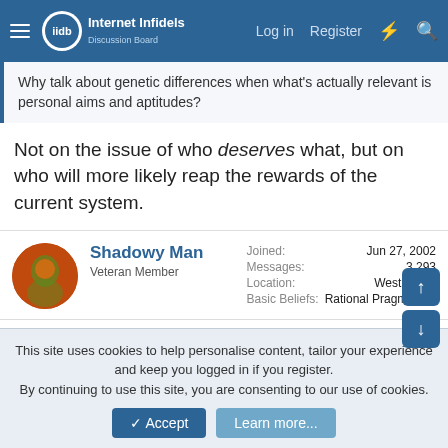Internet Infidels Discussion Board — Log in | Register
Why talk about genetic differences when what's actually relevant is personal aims and aptitudes?
Not on the issue of who deserves what, but on who will more likely reap the rewards of the current system.
Shadowy Man
Veteran Member
Joined: Jun 27, 2002
Messages: 3,293
Location: West Coast
Basic Beliefs: Rational Pragmatism
Nov 6, 2020  #18
WAB said:
This site uses cookies to help personalise content, tailor your experience and keep you logged in if you register.
By continuing to use this site, you are consenting to our use of cookies.